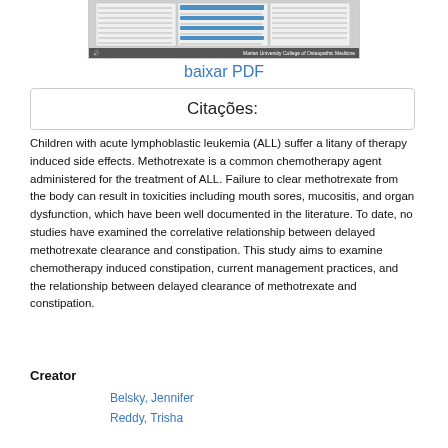[Figure (screenshot): Thumbnail preview of a PDF document page from Marian University College of Osteopathic Medicine, showing a table about methotrexate and related topics.]
baixar PDF
Citações:
Children with acute lymphoblastic leukemia (ALL) suffer a litany of therapy induced side effects. Methotrexate is a common chemotherapy agent administered for the treatment of ALL. Failure to clear methotrexate from the body can result in toxicities including mouth sores, mucositis, and organ dysfunction, which have been well documented in the literature. To date, no studies have examined the correlative relationship between delayed methotrexate clearance and constipation. This study aims to examine chemotherapy induced constipation, current management practices, and the relationship between delayed clearance of methotrexate and constipation.
Creator
Belsky, Jennifer
Reddy, Trisha